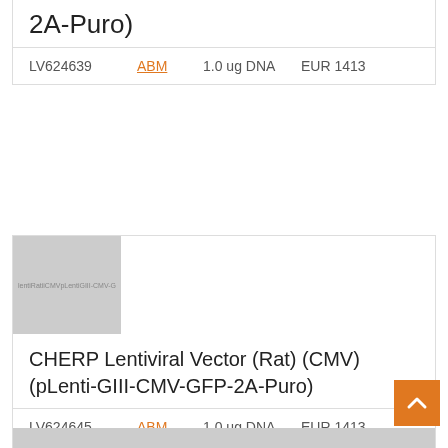2A-Puro)
LV624639   ABM   1.0 ug DNA   EUR 1413
[Figure (photo): Product image placeholder showing lentiviral vector diagram with text: lentiRatiiCMVpLentiGIII-CMV-G]
CHERP Lentiviral Vector (Rat) (CMV) (pLenti-GIII-CMV-GFP-2A-Puro)
LV624645   ABM   1.0 ug DNA   EUR 1413